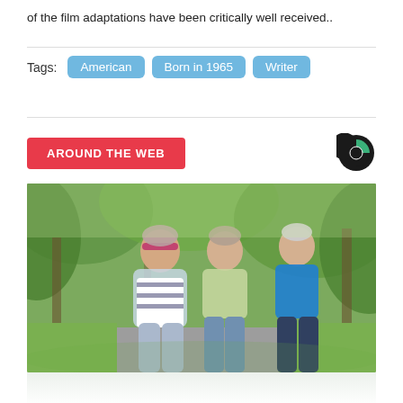of the film adaptations have been critically well received..
Tags: American  Born in 1965  Writer
AROUND THE WEB
[Figure (photo): Three older women jogging together on a park path surrounded by green trees. One wears a pink headband and striped top, one wears a light green t-shirt, and one wears a blue sleeveless top.]